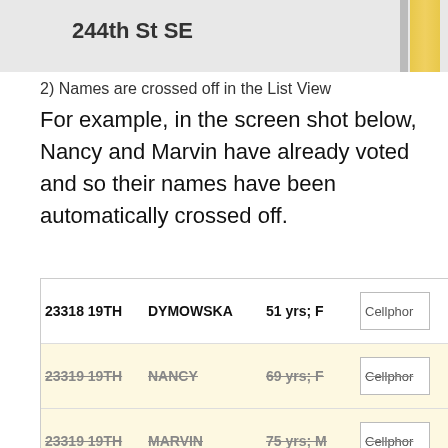[Figure (screenshot): Map image showing 244th St SE with a yellow road]
2) Names are crossed off in the List View
For example, in the screen shot below, Nancy and Marvin have already voted and so their names have been automatically crossed off.
[Figure (screenshot): List view table showing voter records: 23318 19TH DYMOWSKA 51 yrs; F Cellphone; 23319 19TH NANCY 69 yrs; F Cellphone (struck through); 23319 19TH MARVIN 75 yrs; M Cellphone (struck through); 23327 19TH JENNIFER 49 yrs; F Cellphone; 23327 19TH LIESELOTTE 83 yrs; F Cellphone]